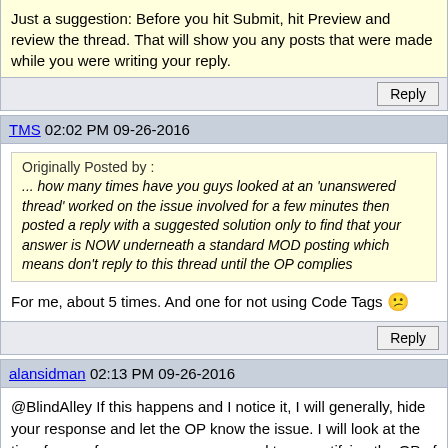Just a suggestion: Before you hit Submit, hit Preview and review the thread. That will show you any posts that were made while you were writing your reply.
TMS 02:02 PM 09-26-2016
Originally Posted by : ... how many times have you guys looked at an 'unanswered thread' worked on the issue involved for a few minutes then posted a reply with a suggested solution only to find that your answer is NOW underneath a standard MOD posting which means don't reply to this thread until the OP complies
For me, about 5 times. And one for not using Code Tags
alansidman 02:13 PM 09-26-2016
@BlindAlley If this happens and I notice it, I will generally, hide your response and let the OP know the issue. I will look at the time frame of your response compared to my notifying the OP of his issue. If I ever give you an infraction because of this, PM me as I probably was having a senior moment and missed the comparison of times. I will then fix the infraction. I would like to think that all moderators take this into consideration. If the time has elapsed significantly, then that is a different story.